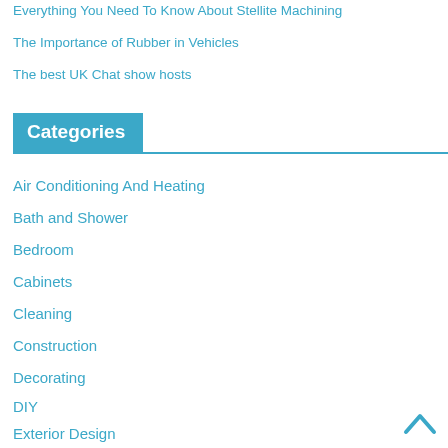Everything You Need To Know About Stellite Machining
The Importance of Rubber in Vehicles
The best UK Chat show hosts
Categories
Air Conditioning And Heating
Bath and Shower
Bedroom
Cabinets
Cleaning
Construction
Decorating
DIY
Exterior Design